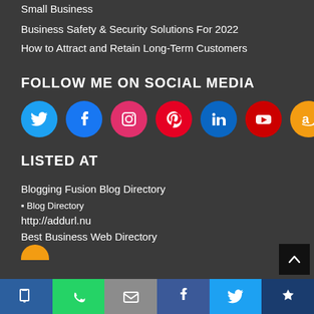Small Business
Business Safety & Security Solutions For 2022
How to Attract and Retain Long-Term Customers
FOLLOW ME ON SOCIAL MEDIA
[Figure (infographic): Social media icon circles: Twitter (blue), Facebook (blue), Instagram (pink/magenta), Pinterest (red), LinkedIn (dark blue), YouTube (red), Amazon (orange)]
LISTED AT
Blogging Fusion Blog Directory
Blog Directory
http://addurl.nu
Best Business Web Directory
[Figure (infographic): Bottom share/action bar with icons: bookmark (dark blue), WhatsApp (green), email (gray), Facebook (blue), Twitter (cyan), crown (dark navy)]